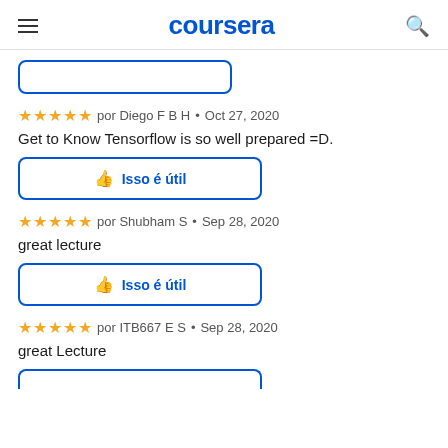coursera
☆☆☆☆☆ por Diego F B H • Oct 27, 2020
Get to Know Tensorflow is so well prepared =D.
Isso é útil
☆☆☆☆☆ por Shubham S • Sep 28, 2020
great lecture
Isso é útil
☆☆☆☆☆ por ITB667 E S • Sep 28, 2020
great Lecture